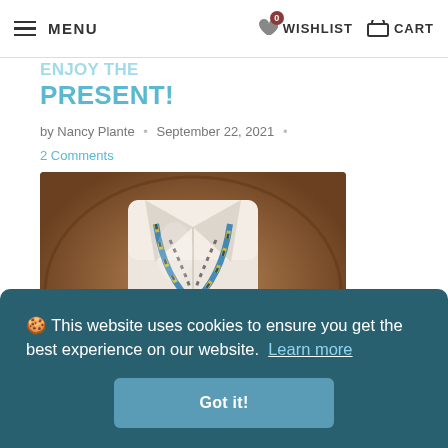MENU   0 WISHLIST   CART
PRESENT!
by Nancy Plante • September 22, 2021 •
2 Comments
[Figure (photo): A white blazer or shirt with a colorful blue, yellow and black beaded/fabric necklace/scarf laid flat on a round wooden table]
🍪 This website uses cookies to ensure you get the best experience on our website. Learn more
Got it!